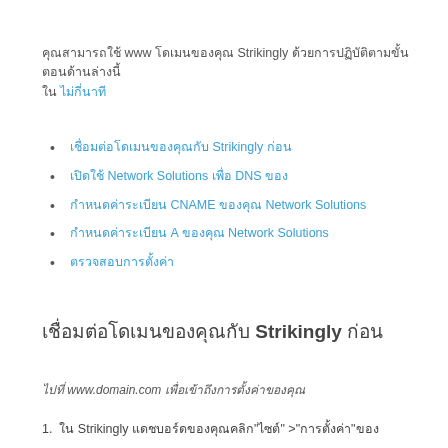คุณสามารถใช้ www โดเมนของคุณ Strikingly ด้วยการปฏิบัติตามขั้นตอนด้านล่างนี้ ใน ไม่กี่นาที
เชื่อมต่อโดเมนของคุณกับ Strikingly ก่อน
เปิดใช้ Network Solutions เพื่อ DNS ของ
กำหนดค่าระเบียน CNAME ของคุณ Network Solutions
กำหนดค่าระเบียน A ของคุณ Network Solutions
ตรวจสอบการตั้งค่า
เชื่อมต่อโดเมนของคุณกับ Strikingly ก่อน
ไปที่ www.domain.com เพื่อเข้าถึงการตั้งค่าของคุณ
1.  ใน Strikingly แดชบอร์ดของคุณคลิก"ไซต์" >"การตั้งค่า"ของ